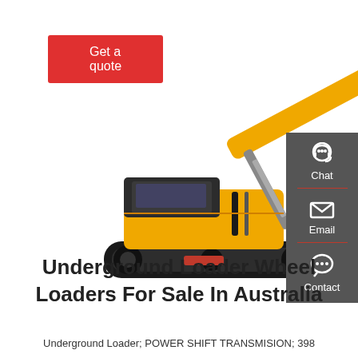Get a quote
[Figure (photo): Yellow mini excavator with black tracks and hydraulic arm with bucket attachment, photographed on white background]
[Figure (infographic): Dark grey sidebar with Chat (headset icon), Email (envelope icon), and Contact (speech bubble icon) options, separated by red lines]
Underground Loader Wheel Loaders For Sale In Australia
Underground Loader; POWER SHIFT TRANSMISION; 398